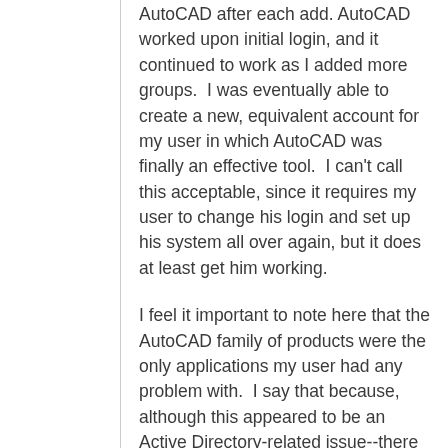AutoCAD after each add. AutoCAD worked upon initial login, and it continued to work as I added more groups.  I was eventually able to create a new, equivalent account for my user in which AutoCAD was finally an effective tool.  I can't call this acceptable, since it requires my user to change his login and set up his system all over again, but it does at least get him working.
I feel it important to note here that the AutoCAD family of products were the only applications my user had any problem with.  I say that because, although this appeared to be an Active Directory-related issue--there is obviously something wrong with my user's original account--no other software had any issue with